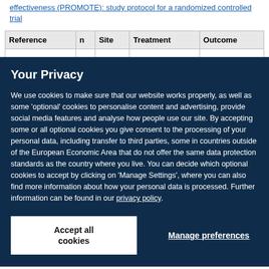effectiveness (PROMOTE): study protocol for a randomized controlled trial
| Reference | n | Site | Treatment | Outcome |
| --- | --- | --- | --- | --- |
|  |  |  |  |  |
Your Privacy
We use cookies to make sure that our website works properly, as well as some ‘optional’ cookies to personalise content and advertising, provide social media features and analyse how people use our site. By accepting some or all optional cookies you give consent to the processing of your personal data, including transfer to third parties, some in countries outside of the European Economic Area that do not offer the same data protection standards as the country where you live. You can decide which optional cookies to accept by clicking on ‘Manage Settings’, where you can also find more information about how your personal data is processed. Further information can be found in our privacy policy.
Accept all cookies
Manage preferences